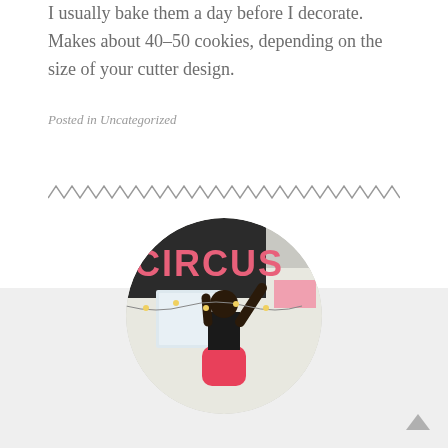I usually bake them a day before I decorate. Makes about 40-50 cookies, depending on the size of your cutter design.
Posted in Uncategorized
[Figure (illustration): Zigzag/wavy decorative divider line]
[Figure (photo): Circular cropped photo of a woman in a pink skirt reaching up toward a black CIRCUS sign on the wall, in a decorated room]